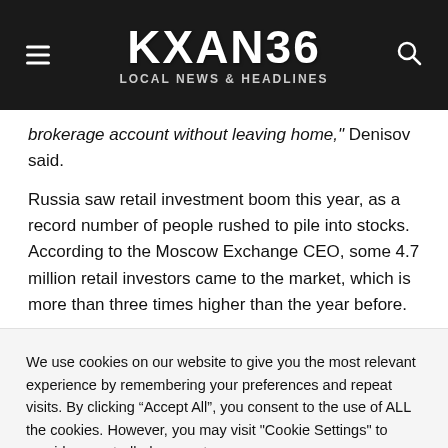KXAN36 LOCAL NEWS & HEADLINES
brokerage account without leaving home," Denisov said.
Russia saw retail investment boom this year, as a record number of people rushed to pile into stocks. According to the Moscow Exchange CEO, some 4.7 million retail investors came to the market, which is more than three times higher than the year before.
We use cookies on our website to give you the most relevant experience by remembering your preferences and repeat visits. By clicking “Accept All”, you consent to the use of ALL the cookies. However, you may visit "Cookie Settings" to provide a controlled consent.